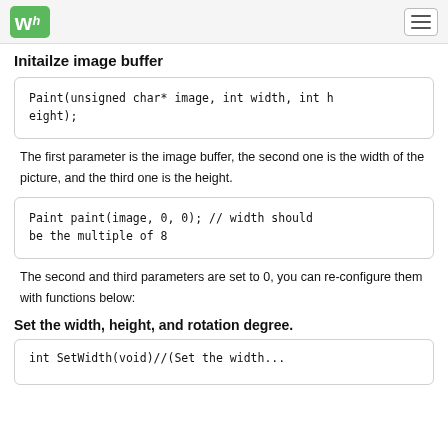WS logo / hamburger menu
Initailze image buffer
Paint(unsigned char* image, int width, int height);
The first parameter is the image buffer, the second one is the width of the picture, and the third one is the height.
Paint paint(image, 0, 0);    // width should be the multiple of 8
The second and third parameters are set to 0, you can re-configure them with functions below:
Set the width, height, and rotation degree.
int SetWidth(void)//(Set the width...